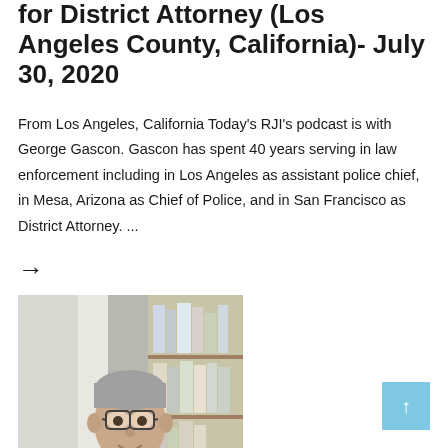for District Attorney (Los Angeles County, California)- July 30, 2020
From Los Angeles, California Today's RJI's podcast is with George Gascon. Gascon has spent 40 years serving in law enforcement including in Los Angeles as assistant police chief, in Mesa, Arizona as Chief of Police, and in San Francisco as District Attorney. ...
→
[Figure (photo): Portrait photo of George Gascon, a middle-aged man with grey hair and glasses wearing a suit and tie, seated in front of a bookshelf.]